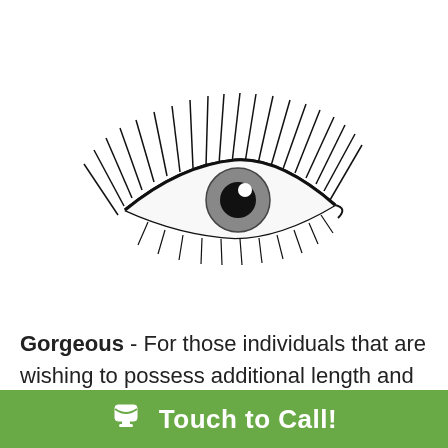[Figure (illustration): Stylized eye illustration with long eyelashes, black outline, gray iris with white highlight, positioned in upper left area of the page]
Gorgeous - For those individuals that are wishing to possess additional length and curl
Touch to Call!